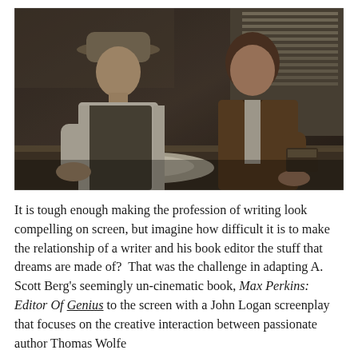[Figure (photo): A cinematic still showing two men leaning over a desk in a dimly lit, period-looking office. The man on the left wears a hat and vest over a white shirt; the man on the right wears a brown jacket. They appear to be reviewing papers on the desk.]
It is tough enough making the profession of writing look compelling on screen, but imagine how difficult it is to make the relationship of a writer and his book editor the stuff that dreams are made of?  That was the challenge in adapting A. Scott Berg's seemingly un-cinematic book, Max Perkins: Editor Of Genius to the screen with a John Logan screenplay that focuses on the creative interaction between passionate author Thomas Wolfe